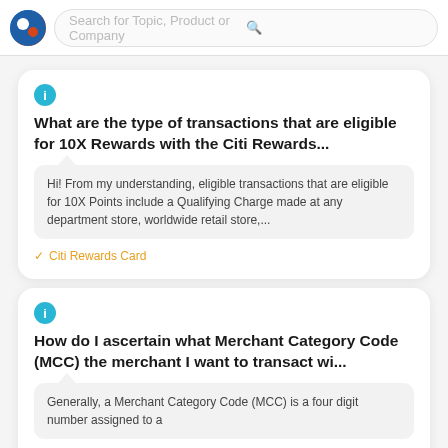Search for Topic, Product or Company
What are the type of transactions that are eligible for 10X Rewards with the Citi Rewards...
Hi! From my understanding, eligible transactions that are eligible for 10X Points include a Qualifying Charge made at any department store, worldwide retail store,...
✓ Citi Rewards Card
How do I ascertain what Merchant Category Code (MCC) the merchant I want to transact wi...
Generally, a Merchant Category Code (MCC) is a four digit number assigned to a